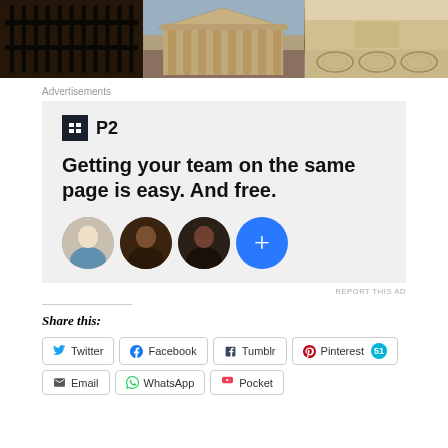[Figure (photo): Three horizontal photos of Italian/Roman architecture: dark ornate gates on left, Pantheon columns in center, decorated floor/corridor on right]
Advertisements
[Figure (infographic): P2 advertisement: logo with 'P2' text, headline 'Getting your team on the same page is easy. And free.', three profile photo circles and a blue plus button circle]
REPORT THIS AD
Share this:
Twitter
Facebook
Tumblr
Pinterest 51
Email
WhatsApp
Pocket